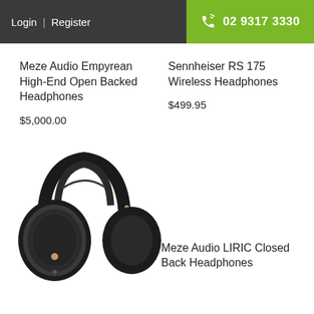Login | Register   02 9317 3330
Meze Audio Empyrean High-End Open Backed Headphones
$5,000.00
Sennheiser RS 175 Wireless Headphones
$499.95
[Figure (photo): Photo of Meze Audio LIRIC closed back headphones, black with rose gold accents, shown from the side]
Meze Audio LIRIC Closed Back Headphones